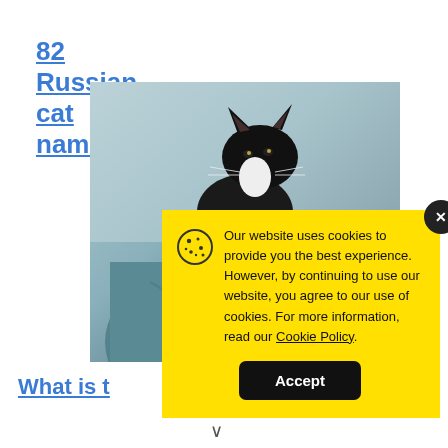82 Russian cat names
[Figure (photo): Person in teal/blue t-shirt holding a black and white cat, photo partially obscured by cookie consent modal]
What is t
Our website uses cookies to provide you the best experience. However, by continuing to use our website, you agree to our use of cookies. For more information, read our Cookie Policy.
Accept